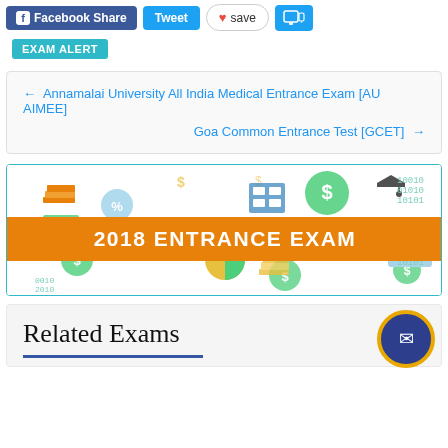Facebook Share | Tweet | save
EXAM ALERT
← Annamalai University All India Medical Entrance Exam [AU AIMEE]
Goa Common Entrance Test [GCET] →
[Figure (infographic): 2018 Entrance Exam banner with education and finance themed icons, orange overlay bar with bold white text '2018 ENTRANCE EXAM']
Related Exams